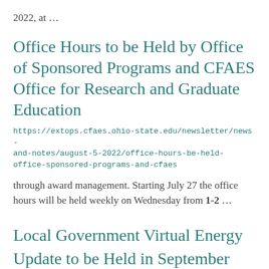2022, at …
Office Hours to be Held by Office of Sponsored Programs and CFAES Office for Research and Graduate Education
https://extops.cfaes.ohio-state.edu/newsletter/news-and-notes/august-5-2022/office-hours-be-held-office-sponsored-programs-and-cfaes
through award management. Starting July 27 the office hours will be held weekly on Wednesday from 1-2 …
Local Government Virtual Energy Update to be Held in September